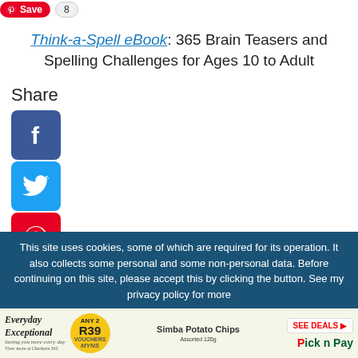[Figure (other): Pinterest Save button with count of 8]
Think-a-Spell eBook: 365 Brain Teasers and Spelling Challenges for Ages 10 to Adult
Share
[Figure (other): Facebook social share icon]
[Figure (other): Twitter social share icon]
[Figure (other): Pinterest social share icon]
[Figure (other): Tumblr social share icon]
[Figure (other): Reddit social share icon]
[Figure (other): WhatsApp social share icon]
This site uses cookies, some of which are required for its operation. It also collects some personal and some non-personal data. Before continuing on this site, please accept this by clicking the button. See my privacy policy for more
[Figure (other): Pick n Pay advertisement banner]